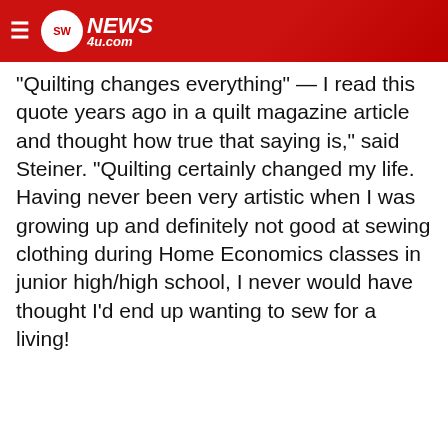SW NEWS 4U.com
“Quilting changes everything” — I read this quote years ago in a quilt magazine article and thought how true that saying is,” said Steiner. “Quilting certainly changed my life. Having never been very artistic when I was growing up and definitely not good at sewing clothing during Home Economics classes in junior high/high school, I never would have thought I’d end up wanting to sew for a living!